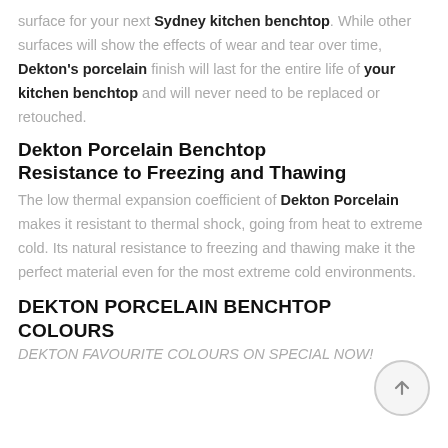surface for your next Sydney kitchen benchtop. While other surfaces will show the effects of wear and tear over time, Dekton's porcelain finish will last for the entire life of your kitchen benchtop and will never need to be replaced or retouched.
Dekton Porcelain Benchtop Resistance to Freezing and Thawing
The low thermal expansion coefficient of Dekton Porcelain makes it resistant to thermal shock, going from heat to extreme cold. Its natural resistance to freezing and thawing make it the perfect material even for the most extreme cold environments.
DEKTON PORCELAIN BENCHTOP COLOURS
DEKTON FAVOURITE COLOURS ON SPECIAL NOW!